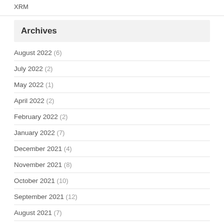XRM
Archives
August 2022 (6)
July 2022 (2)
May 2022 (1)
April 2022 (2)
February 2022 (2)
January 2022 (7)
December 2021 (4)
November 2021 (8)
October 2021 (10)
September 2021 (12)
August 2021 (7)